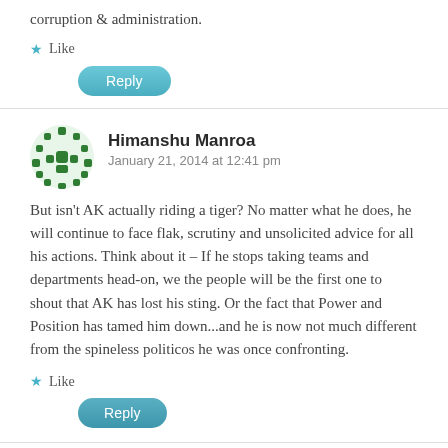corruption & administration.
Like
Reply
Himanshu Manroa
January 21, 2014 at 12:41 pm
But isn't AK actually riding a tiger? No matter what he does, he will continue to face flak, scrutiny and unsolicited advice for all his actions. Think about it – If he stops taking teams and departments head-on, we the people will be the first one to shout that AK has lost his sting. Or the fact that Power and Position has tamed him down...and he is now not much different from the spineless politicos he was once confronting.
Like
Reply